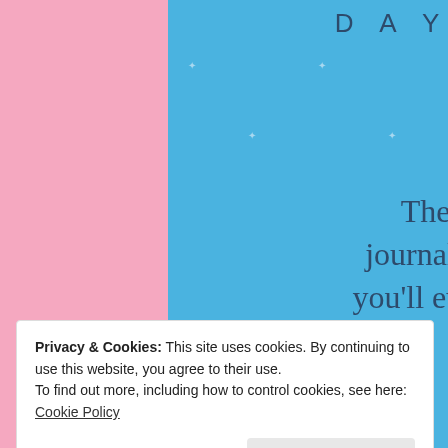DAY ONE
The only journaling app you'll ever need.
Get the app
Privacy & Cookies: This site uses cookies. By continuing to use this website, you agree to their use.
To find out more, including how to control cookies, see here: Cookie Policy
Close and accept